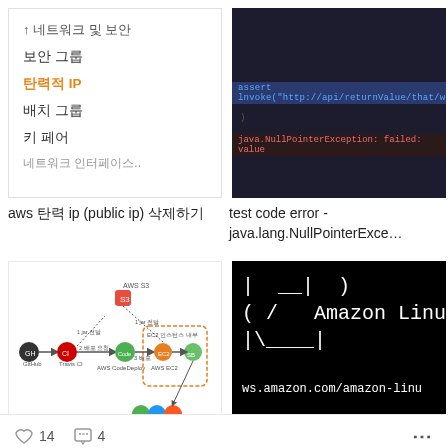[Figure (screenshot): AWS console menu list showing: 보안 그룹, 탄력적 IP (highlighted in orange), 배치 그룹, 키 페어]
[Figure (screenshot): Dark background code editor showing test code error with blue highlighted line and red text]
aws 탄력 ip (public ip) 삭제하기
test code error - java.lang.NullPointerExce…
[Figure (infographic): Travis CI + AWS(S3, CodeDeploy) integration flow diagram showing GitHub, Travis CI, AWS CodeDeploy, AWS EC2, Spring Boot, and browser icons]
[Figure (screenshot): Amazon Linux terminal boot screen showing ASCII art logo and ws.amazon.com/amazon-linu URL]
Travis CI(유료..-_-) + AWS(S3, CodeDeploy) 연동
aws 서버구축
♡ 14  💬 4   ⋮